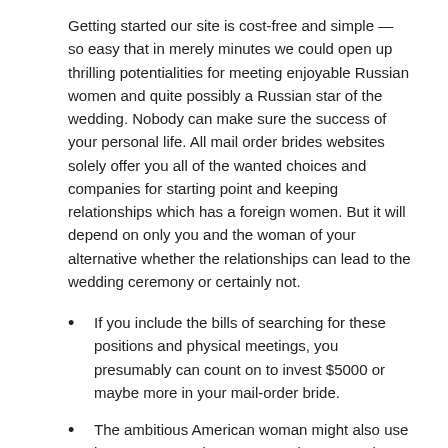Getting started our site is cost-free and simple — so easy that in merely minutes we could open up thrilling potentialities for meeting enjoyable Russian women and quite possibly a Russian star of the wedding. Nobody can make sure the success of your personal life. All mail order brides websites solely offer you all of the wanted choices and companies for starting point and keeping relationships which has a foreign women. But it will depend on only you and the woman of your alternative whether the relationships can lead to the wedding ceremony or certainly not.
If you include the bills of searching for these positions and physical meetings, you presumably can count on to invest $5000 or maybe more in your mail-order bride.
The ambitious American woman might also use her greatest work so as to produce a marriage work.
Finally, if you wind up out on dates with your fabulous American girlfriend, never discuss controversial is important.
Free-but-not-really apps are those which would possibly end up being technically liberated to make use of, but you need to pay to do absolutely whatever together with find out or answer